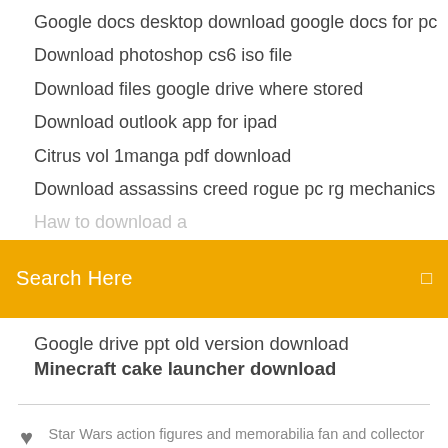Google docs desktop download google docs for pc
Download photoshop cs6 iso file
Download files google drive where stored
Download outlook app for ipad
Citrus vol 1manga pdf download
Download assassins creed rogue pc rg mechanics
Search Here
Google drive ppt old version download
Minecraft cake launcher download
Star Wars action figures and memorabilia fan and collector site with a community talk forum, contests, prizes, news, and much more.